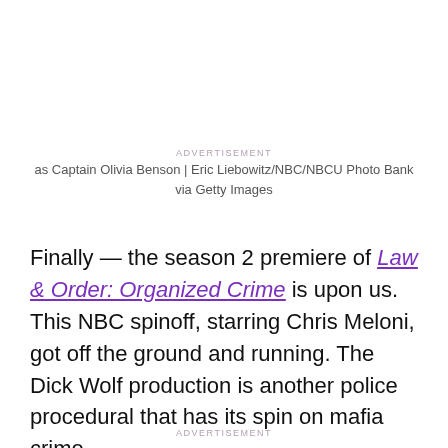ADVERTISEMENT
as Captain Olivia Benson | Eric Liebowitz/NBC/NBCU Photo Bank via Getty Images
Finally — the season 2 premiere of Law & Order: Organized Crime is upon us. This NBC spinoff, starring Chris Meloni, got off the ground and running. The Dick Wolf production is another police procedural that has its spin on mafia crime.
ADVERTISEMENT